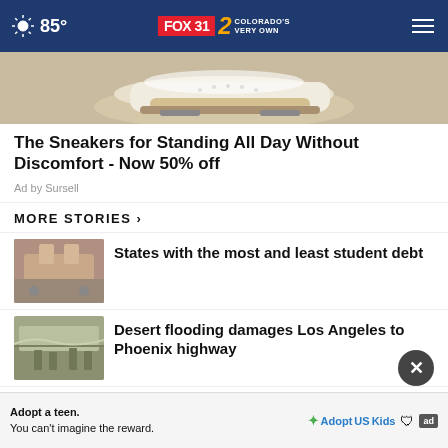85° FOX 31 2 COLORADO'S VERY OWN
[Figure (photo): Sneakers advertisement image showing white athletic shoes]
The Sneakers for Standing All Day Without Discomfort - Now 50% off
Ad by Sursell
MORE STORIES ›
States with the most and least student debt
Desert flooding damages Los Angeles to Phoenix highway
Sheriff: Guy on honeymoon burned in
Adopt a teen. You can't imagine the reward.